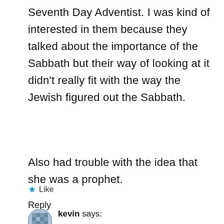Seventh Day Adventist. I was kind of interested in them because they talked about the importance of the Sabbath but their way of looking at it didn't really fit with the way the Jewish figured out the Sabbath.
Also had trouble with the idea that she was a prophet.
★ Like
Reply
kevin says: